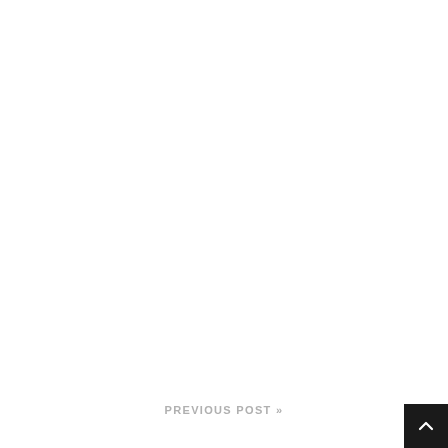PREVIOUS POST »
[Figure (other): Scroll-to-top button: black square with white upward-pointing chevron arrow, positioned in the bottom-right corner of the page.]